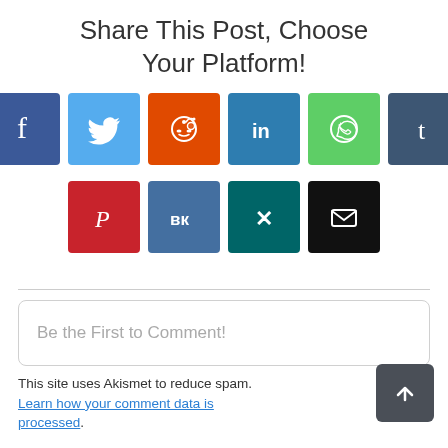Share This Post, Choose Your Platform!
[Figure (infographic): Row of social media share icons: Facebook (dark blue, f), Twitter (light blue, bird), Reddit (orange, alien), LinkedIn (teal, in), WhatsApp (green, phone), Tumblr (dark blue-gray, t); second row: Pinterest (red, P), VKontakte (blue, VK), Xing (teal, X), Email (black, envelope)]
Be the First to Comment!
This site uses Akismet to reduce spam. Learn how your comment data is processed.